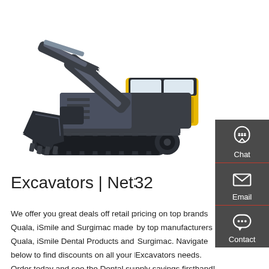[Figure (photo): Hyundai excavator (construction equipment), dark grey and yellow, shown in profile view on white background with HYUNDAI text on the arm.]
Excavators | Net32
We offer you great deals off retail pricing on top brands Quala, iSmile and Surgimac made by top manufacturers Quala, iSmile Dental Products and Surgimac. Navigate below to find discounts on all your Excavators needs. Order today and see the Dental supply savings firsthand!